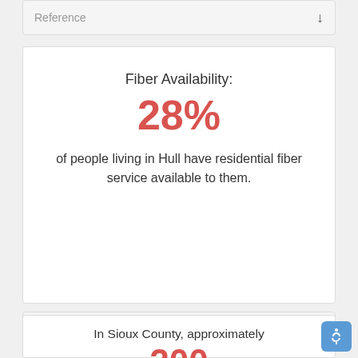Reference
Fiber Availability:
28%
of people living in Hull have residential fiber service available to them.
Reference
In Sioux County, approximately
200